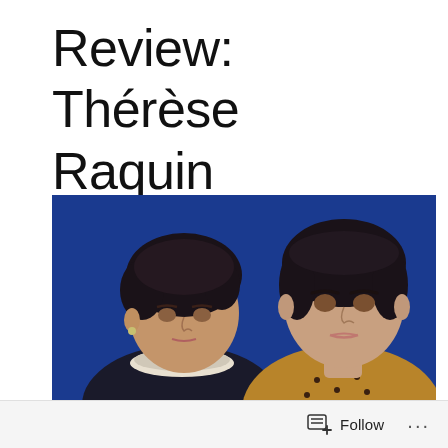Review: Thérèse Raquin
[Figure (photo): Two women posed against a deep blue background. On the left, an older woman with dark curly hair and a black dress with white lace collar, looking downward. On the right, a younger woman with a dark short bob haircut, wearing a mustard yellow floral-patterned dress, looking directly at the camera.]
Follow ...